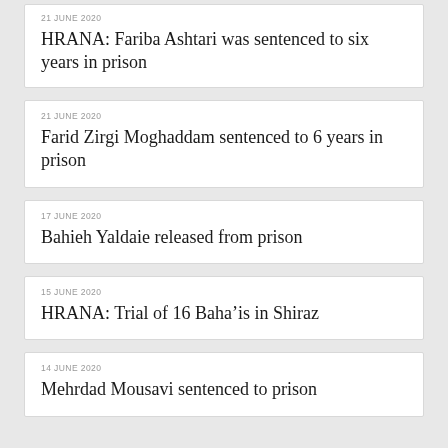21 JUNE 2020
HRANA: Fariba Ashtari was sentenced to six years in prison
21 JUNE 2020
Farid Zirgi Moghaddam sentenced to 6 years in prison
17 JUNE 2020
Bahieh Yaldaie released from prison
15 JUNE 2020
HRANA: Trial of 16 Baha’is in Shiraz
14 JUNE 2020
Mehrdad Mousavi sentenced to prison